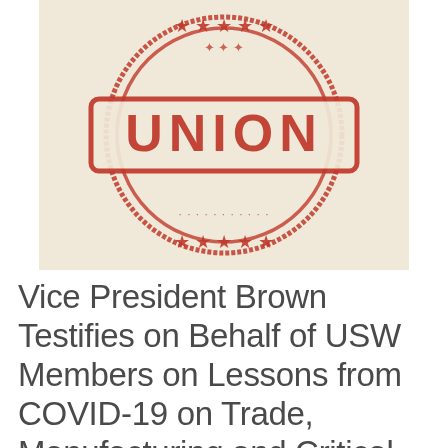[Figure (illustration): A red rubber stamp graphic on a cream/beige textured background, circular stamp shape with the word UNION in large red capital letters in a rectangular banner across the center, surrounded by a circular border with stars and decorative elements, all in red ink stamp style.]
Vice President Brown Testifies on Behalf of USW Members on Lessons from COVID-19 on Trade, Manufacturing and Critical Supply